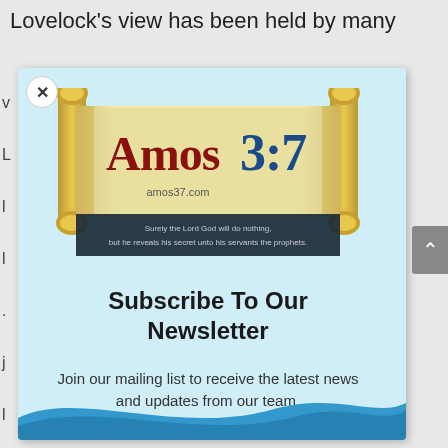Lovelock's view has been held by many
[Figure (screenshot): A popup overlay on a webpage showing the Amos 3:7 website logo — a scroll graphic with 'Amos 3:7' text in red and blue, with 'amos37.com' below, and a dark banner reading 'Surely the Lord God will do nothing, but he reveals his secret unto his servants the prophets.' Below the logo is a newsletter signup section with bold heading 'Subscribe To Our Newsletter' and text 'Join our mailing list to receive the latest news and updates from our team.' The popup has a light blue background and a close (X) button in the top-left corner. A blue wave graphic appears at the bottom. A grey scroll-up arrow button is visible on the right side.]